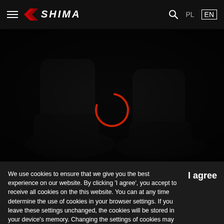SHIMA — navigation bar with hamburger menu, SHIMA logo, search icon, PL / EN language switcher
[Figure (photo): Dark photo of motorcycle boots on a black background, with a red circular loading spinner visible in the center of the image]
We use cookies to ensure that we give you the best experience on our website. By clicking 'I agree', you accept to receive all cookies on the this website. You can at any time determine the use of cookies in your browser settings. If you leave these settings unchanged, the cookies will be stored in your device's memory. Changing the settings of cookies may limit the functionality of the website. I want to know more...
I agree